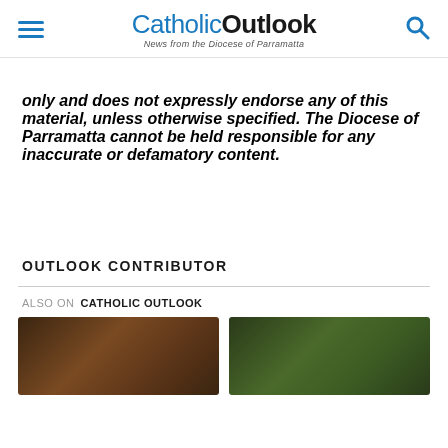CatholicOutlook — News from the Diocese of Parramatta
only and does not expressly endorse any of this material, unless otherwise specified. The Diocese of Parramatta cannot be held responsible for any inaccurate or defamatory content.
OUTLOOK CONTRIBUTOR
ALSO ON CATHOLIC OUTLOOK
[Figure (photo): Photo card 1 - person with dark jacket]
[Figure (photo): Photo card 2 - group of people outdoors]